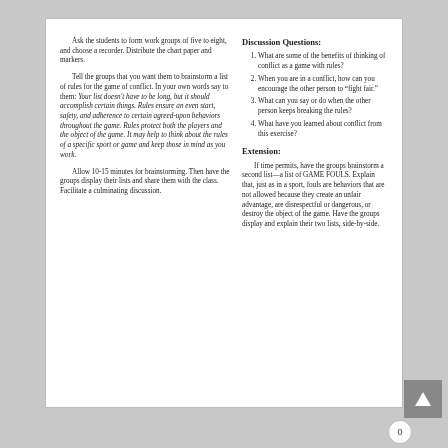Ask the students to form work groups of five to eight, and choose a recorder. Distribute the chart paper and markers.
Tell the groups that you want them to brainstorm a list of rules for the game of conflict. In your own words say to them: Your list doesn't have to be long, but it should accomplish certain things. Rules ensure an even start, safety, and adherence to certain agreed-upon behaviors throughout the game. Rules protect both the players and the object of the game. It may help to think about the rules of a specific sport or game and keep those in mind as you work.
Allow 10-15 minutes for brainstorming. Then have the groups display their lists and share them with the class. Facilitate a culminating discussion.
Discussion Questions:
What are some of the benefits of thinking of conflict as a game with rules?
When you are in a conflict, how can you encourage the other person to “fight fair.”
What can you say or do when the other person keeps breaking the rules?
What have you learned about conflict from this exercise?
Extension:
If time permits, have the groups brainstorm a second list—a list of GAME FOULS. Explain that, just as in a sport, fouls are behaviors that are not allowed because they create an unfair advantage, are disrespectful or dangerous, or destroy the object of the game. Have the groups display and explain their two lists, side-by-side.